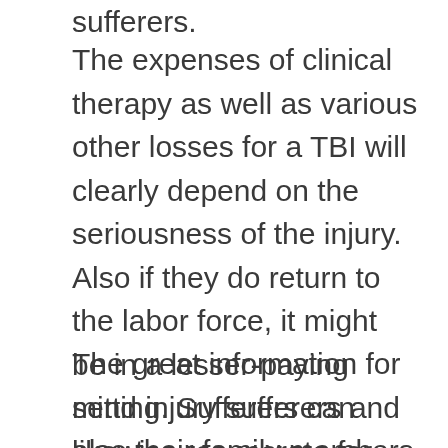sufferers.
The expenses of clinical therapy as well as various other losses for a TBI will clearly depend on the seriousness of the injury. Also if they do return to the labor force, it might be in a lesser-paying setting. Sufferers can likewise recuperate for their physical discomfort as well as suffering, loss of satisfaction of life, psychological injury, and also irreversible problems triggered by their TBI.
The great information for mind injury sufferers and also their family members is that in numerous scenarios, they have the right to look for payment from an additional celebration. This best hope is if the person or the celebration...